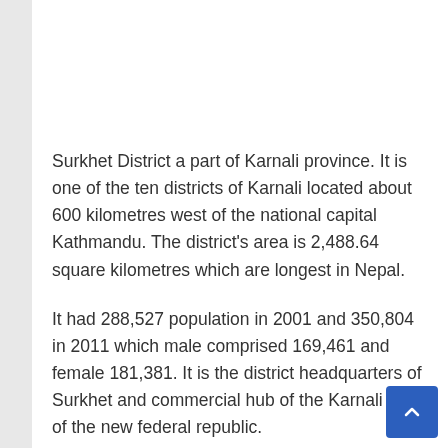Surkhet District a part of Karnali province. It is one of the ten districts of Karnali located about 600 kilometres west of the national capital Kathmandu. The district's area is 2,488.64 square kilometres which are longest in Nepal.
It had 288,527 population in 2001 and 350,804 in 2011 which male comprised 169,461 and female 181,381. It is the district headquarters of Surkhet and commercial hub of the Karnali state of the new federal republic.